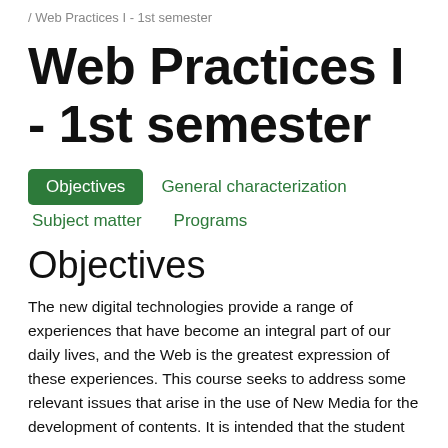/ Web Practices I - 1st semester
Web Practices I - 1st semester
Objectives
General characterization
Subject matter
Programs
Objectives
The new digital technologies provide a range of experiences that have become an integral part of our daily lives, and the Web is the greatest expression of these experiences. This course seeks to address some relevant issues that arise in the use of New Media for the development of contents. It is intended that the student